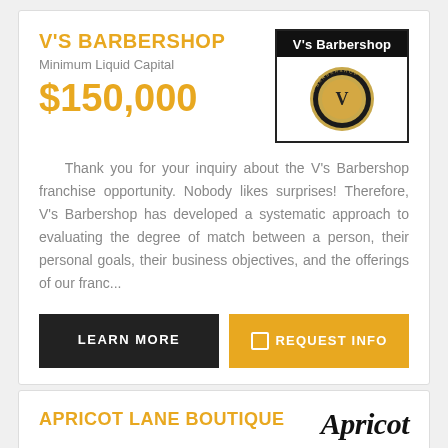V'S BARBERSHOP
Minimum Liquid Capital
$150,000
[Figure (logo): V's Barbershop logo with black header and circular emblem on white background]
Thank you for your inquiry about the V's Barbershop franchise opportunity. Nobody likes surprises! Therefore, V's Barbershop has developed a systematic approach to evaluating the degree of match between a person, their personal goals, their business objectives, and the offerings of our franc...
LEARN MORE
REQUEST INFO
APRICOT LANE BOUTIQUE
[Figure (logo): Apricot Lane Boutique logo showing text 'Apricot' in bold serif font]